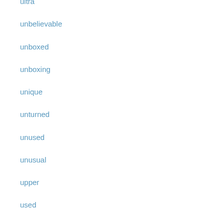ultra
unbelievable
unboxed
unboxing
unique
unturned
unused
unusual
upper
used
ussr
vacheron
versace